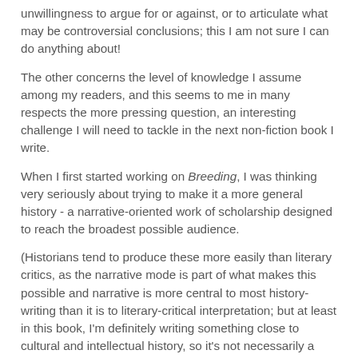unwillingness to argue for or against, or to articulate what may be controversial conclusions; this I am not sure I can do anything about!
The other concerns the level of knowledge I assume among my readers, and this seems to me in many respects the more pressing question, an interesting challenge I will need to tackle in the next non-fiction book I write.
When I first started working on Breeding, I was thinking very seriously about trying to make it a more general history - a narrative-oriented work of scholarship designed to reach the broadest possible audience.
(Historians tend to produce these more easily than literary critics, as the narrative mode is part of what makes this possible and narrative is more central to most history-writing than it is to literary-critical interpretation; but at least in this book, I'm definitely writing something close to cultural and intellectual history, so it's not necessarily a disciplinary sticking point...)